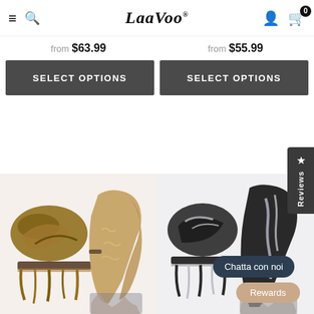LaaVoo
from $63.99
from $55.99
SELECT OPTIONS
SELECT OPTIONS
[Figure (photo): Brown/golden hair extensions shown as loose wefts and worn on a model with wavy hair]
[Figure (photo): Black and silver/grey highlighted hair extensions shown as loose wefts and worn on a model]
Reviews
Chatta con noi
Rewards